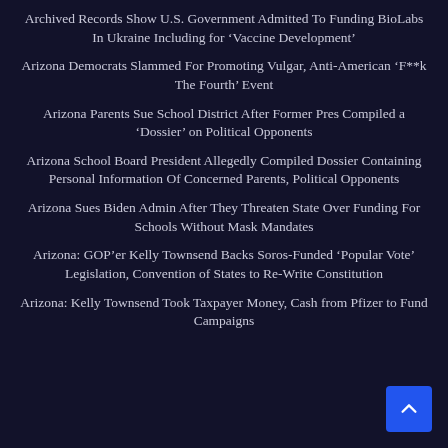Archived Records Show U.S. Government Admitted To Funding BioLabs In Ukraine Including for ‘Vaccine Development’
Arizona Democrats Slammed For Promoting Vulgar, Anti-American ‘F**k The Fourth’ Event
Arizona Parents Sue School District After Former Pres Compiled a ‘Dossier’ on Political Opponents
Arizona School Board President Allegedly Compiled Dossier Containing Personal Information Of Concerned Parents, Political Opponents
Arizona Sues Biden Admin After They Threaten State Over Funding For Schools Without Mask Mandates
Arizona: GOP’er Kelly Townsend Backs Soros-Funded ‘Popular Vote’ Legislation, Convention of States to Re-Write Constitution
Arizona: Kelly Townsend Took Taxpayer Money, Cash from Pfizer to Fund Campaigns